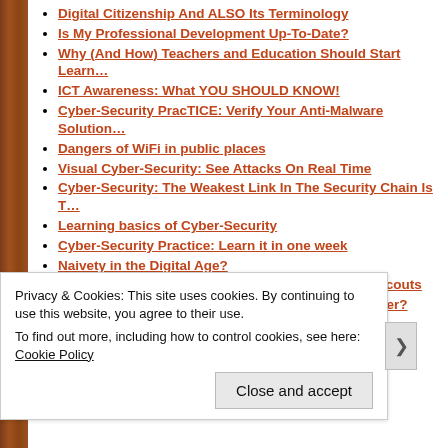Digital Citizenship And ALSO Its Terminology
Is My Professional Development Up-To-Date?
Why (And How) Teachers and Education Should Start Learn…
ICT Awareness: What YOU SHOULD KNOW!
Cyber-Security PracTICE: Verify Your Anti-Malware Solution…
Dangers of WiFi in public places
Visual Cyber-Security: See Attacks On Real Time
Cyber-Security: The Weakest Link In The Security Chain Is T…
Learning basics of Cyber-Security
Cyber-Security Practice: Learn it in one week
Naivety in the Digital Age?
Ideas for a more secure Internet-part2/IT-Security Scouts
Why IT Security? Why the need to secure a computer?
Beginners IT-Security Guide
PC Security-HowTo Secure my PC
PC Security-HowTo Fight Spam efficiently
https://gustmeesen.wordpress.com/
Privacy & Cookies: This site uses cookies. By continuing to use this website, you agree to their use. To find out more, including how to control cookies, see here: Cookie Policy
Close and accept